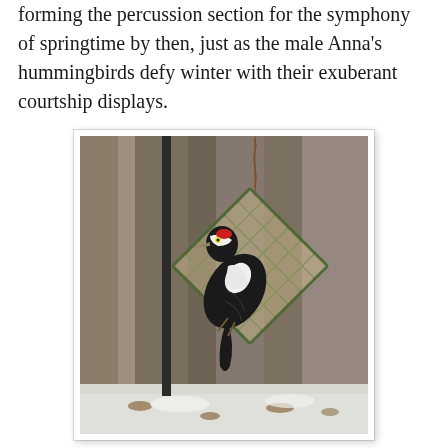forming the percussion section for the symphony of springtime by then, just as the male Anna's hummingbirds defy winter with their exuberant courtship displays.
[Figure (photo): A woodpecker clinging to a green wire suet cage feeder hanging from a chain, with a snowy ground and blurred wooded background in winter.]